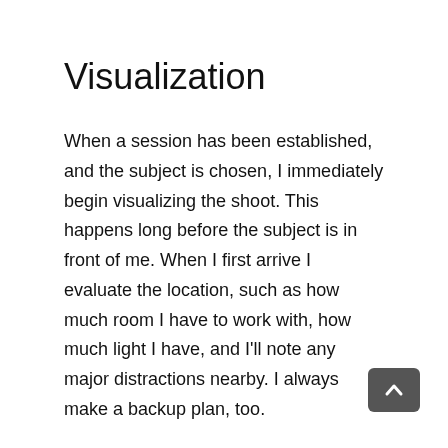Visualization
When a session has been established, and the subject is chosen, I immediately begin visualizing the shoot. This happens long before the subject is in front of me. When I first arrive I evaluate the location, such as how much room I have to work with, how much light I have, and I'll note any major distractions nearby. I always make a backup plan, too.
Lens Selection
Visualizing helps me choose the right lens, which is my 50mm most of the time. I pull out the 85mm